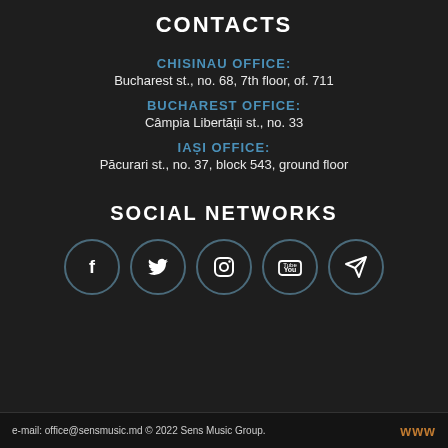CONTACTS
CHISINAU OFFICE:
Bucharest st., no. 68, 7th floor, of. 711
BUCHAREST OFFICE:
Câmpia Libertății st., no. 33
IAȘI OFFICE:
Păcurari st., no. 37, block 543, ground floor
SOCIAL NETWORKS
[Figure (infographic): Five social media icon circles: Facebook, Twitter, Instagram, YouTube, Telegram]
e-mail: office@sensmusic.md © 2022 Sens Music Group.